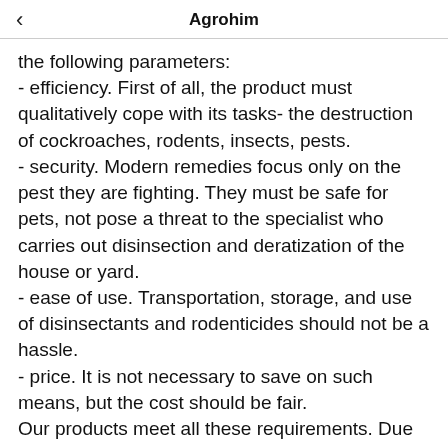Agrohim
the following parameters:
- efficiency. First of all, the product must qualitatively cope with its tasks- the destruction of cockroaches, rodents, insects, pests.
- security. Modern remedies focus only on the pest they are fighting. They must be safe for pets, not pose a threat to the specialist who carries out disinsection and deratization of the house or yard.
- ease of use. Transportation, storage, and use of disinsectants and rodenticides should not be a hassle.
- price. It is not necessary to save on such means, but the cost should be fair.
Our products meet all these requirements. Due to this, the production and sale (and in this case demand gives rise to supply) increase annually